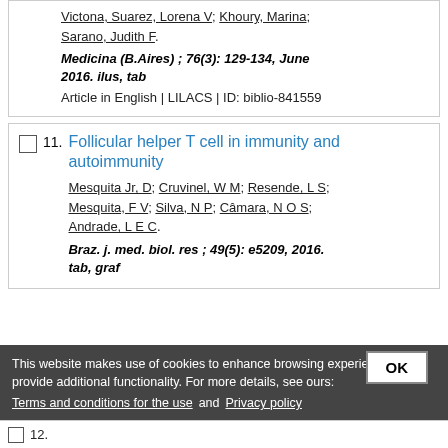Victona, Suarez, Lorena V; Khoury, Marina; Sarano, Judith F.
Medicina (B.Aires) ; 76(3): 129-134, June 2016. ilus, tab
Article in English | LILACS | ID: biblio-841559
11. Follicular helper T cell in immunity and autoimmunity
Mesquita Jr, D; Cruvinel, W M; Resende, L S; Mesquita, F V; Silva, N P; Câmara, N O S; Andrade, L E C.
Braz. j. med. biol. res ; 49(5): e5209, 2016. tab, graf
This website makes use of cookies to enhance browsing experience and provide additional functionality. For more details, see ours: Terms and conditions for the use and Privacy policy
12.